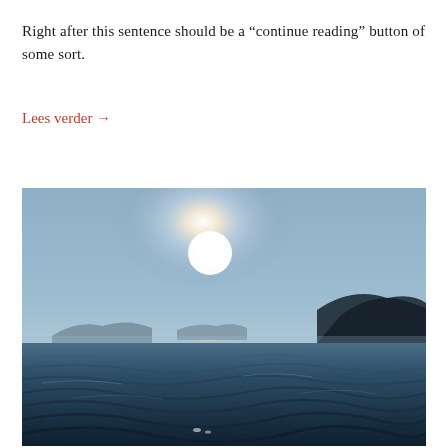Right after this sentence should be a “continue reading” button of some sort.
Lees verder →
[Figure (photo): Ocean surface with gentle waves in the foreground, misty islands silhouetted on the horizon, and a bright glowing sun low in a pale blue-grey sky, creating light reflections on the dark blue-grey water.]